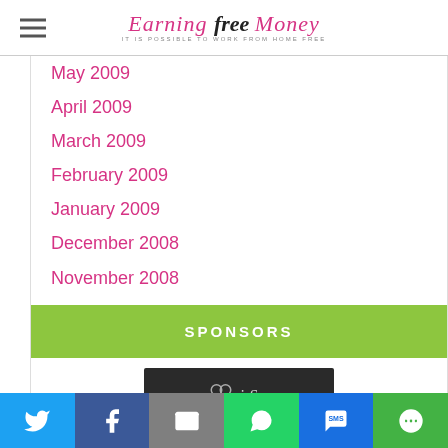Earning Free Money — IT IS POSSIBLE TO WORK FROM HOME FREE
May 2009
April 2009
March 2009
February 2009
January 2009
December 2008
November 2008
SPONSORS
[Figure (screenshot): i-Say survey sponsor advertisement showing logo and 'Want to earn' text on dark background]